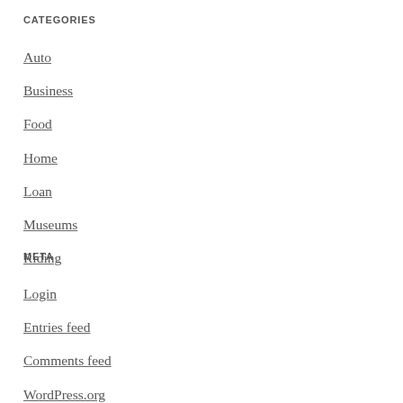CATEGORIES
Auto
Business
Food
Home
Loan
Museums
Riding
META
Login
Entries feed
Comments feed
WordPress.org